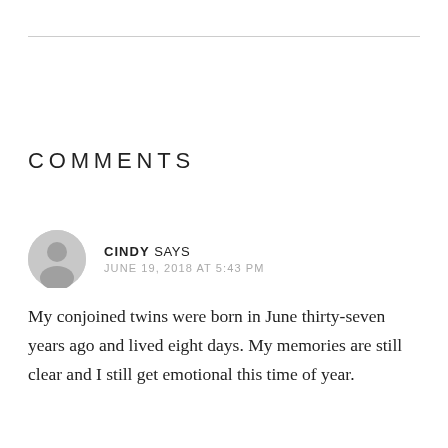COMMENTS
CINDY SAYS
JUNE 19, 2018 AT 5:43 PM
My conjoined twins were born in June thirty-seven years ago and lived eight days. My memories are still clear and I still get emotional this time of year.